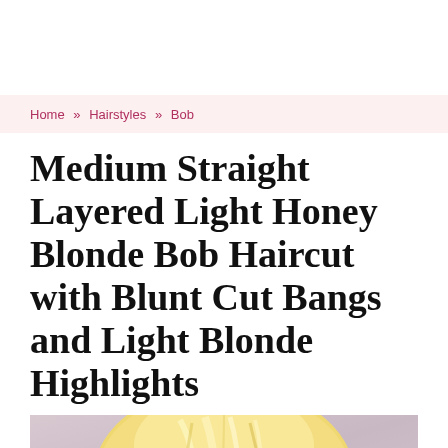Home » Hairstyles » Bob
Medium Straight Layered Light Honey Blonde Bob Haircut with Blunt Cut Bangs and Light Blonde Highlights
[Figure (photo): Photo of a person with a medium straight layered light honey blonde bob haircut with blunt cut bangs, viewed from behind/top angle against a pinkish-purple background.]